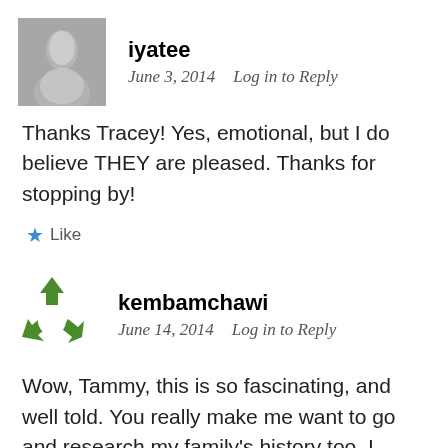[Figure (photo): Grayscale profile photo avatar for user iyatee]
iyatee
June 3, 2014   Log in to Reply
Thanks Tracey! Yes, emotional, but I do believe THEY are pleased. Thanks for stopping by!
★ Like
[Figure (logo): Green recycling arrows icon avatar for user kembamchawi]
kembamchawi
June 14, 2014   Log in to Reply
Wow, Tammy, this is so fascinating, and well told. You really make me want to go and research my family's history too. I hope you can connect back to your folks in rice country. That's where my people